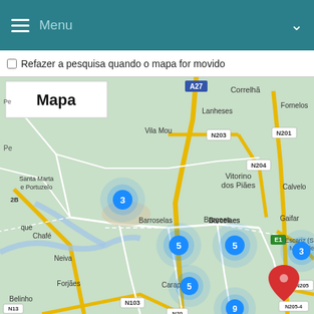Menu
Refazer a pesquisa quando o mapa for movido
[Figure (map): Road map of northern Portugal showing area around Barroselas, Barcelos, Viana do Castelo. Multiple blue cluster markers with numbers 3, 5, 5, 3, 5, 9 and one red location pin in center-right area. Place names visible: Correlhã, Lanheses, Vila Mou, Fornelos, Santa Marta e Portuzelo, Vitorino dos Piães, Calvelo, Gaifar, Chafé, Neiva, Barroselas, Barcelos, Escariz (São Mamede), Forjães, Carapeços, Belinho. Road labels: A27, N203, N204, N201, E1, N205, N103, N205-4.]